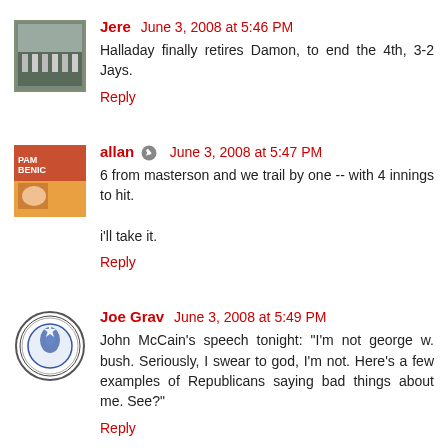[Figure (photo): Avatar thumbnail showing a group photo outdoors]
Jere  June 3, 2008 at 5:46 PM
Halladay finally retires Damon, to end the 4th, 3-2 Jays.
Reply
[Figure (photo): Avatar thumbnail showing a book cover PAM BENIC]
allan  June 3, 2008 at 5:47 PM
6 from masterson and we trail by one -- with 4 innings to hit.

i'll take it.
Reply
[Figure (logo): Avatar showing Massachusetts state seal circular logo]
Joe Grav  June 3, 2008 at 5:49 PM
John McCain's speech tonight: "I'm not george w. bush. Seriously, I swear to god, I'm not. Here's a few examples of Republicans saying bad things about me. See?"
Reply